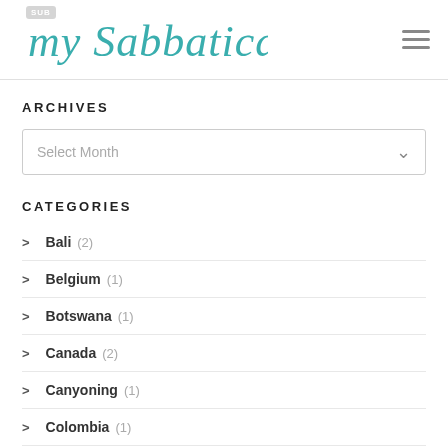my Sabbatical Story
ARCHIVES
Select Month
CATEGORIES
Bali (2)
Belgium (1)
Botswana (1)
Canada (2)
Canyoning (1)
Colombia (1)